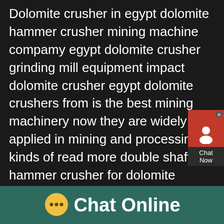Dolomite crusher in egypt dolomite hammer crusher mining machine compamy egypt dolomite crusher grinding mill equipment impact dolomite crusher egypt dolomite crushers from is the best mining machinery now they are widely applied in mining and processing kinds of read more double shaft hammer crusher for dolomite anddolomite hammer stone egy bostonenglishplSbm Impact Dolomite Crusher Egyp dolomite hammer crusher mining machine compamy egypt dolomite crusher grinding mill equipment impact dolomite crusher egypt dolomite crushers from is the best mining machinery now they are widely applied in mining and processing kinds of Read more double shaft hammer crusher for dolomite and lime
[Figure (other): Chat widget overlay showing a red background with a headset/person icon, close button (x), and 'Chat Now' label in dark box]
[Figure (other): Footer bar with teal/dark green background showing a yellow speech bubble icon with three dots and white text 'Chat Online']